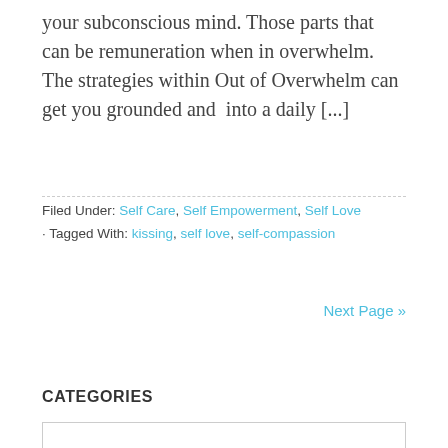your subconscious mind. Those parts that can be remuneration when in overwhelm. The strategies within Out of Overwhelm can get you grounded and  into a daily [...]
Filed Under: Self Care, Self Empowerment, Self Love · Tagged With: kissing, self love, self-compassion
Next Page »
CATEGORIES